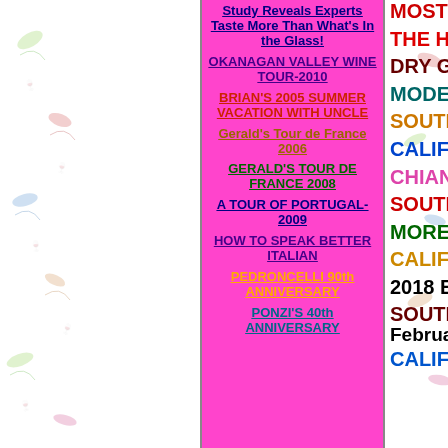Study Reveals Experts Taste More Than What's In the Glass!
OKANAGAN VALLEY WINE TOUR-2010
BRIAN'S 2005 SUMMER VACATION WITH UNCLE
Gerald's Tour de France 2006
GERALD'S TOUR DE FRANCE 2008
A TOUR OF PORTUGAL-2009
HOW TO SPEAK BETTER ITALIAN
PEDRONCELLI 90th ANNIVERSARY
PONZI'S 40th ANNIVERSARY
MOSTLY GEORGI...
THE HOLIDAY WI...
DRY GERMAN RIE...
MODESTLY-PRIC...
SOUTHERN HEMI...
CALIFORNIA CHA...
CHIANTI CLASSI...
SOUTHERN HEMI...
MORE CALIFORN...
CALIFORNIA CAB...
2018 BORDEAUX...
SOUTHERN HEMI... February 2021
CALIFORNIA CHA...